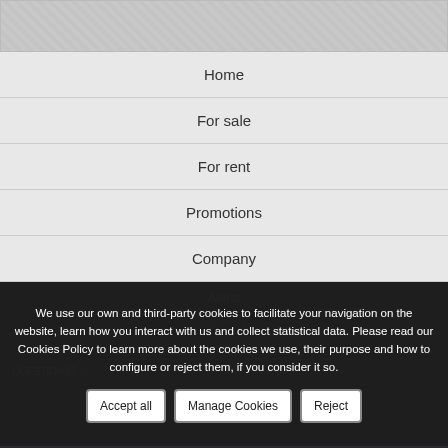[Figure (photo): Top banner image area, gray/neutral colored background representing a map or property image]
Home
For sale
For rent
Promotions
Company
Alerts
We use our own and third-party cookies to facilitate your navigation on the website, learn how you interact with us and collect statistical data. Please read our Cookies Policy to learn more about the cookies we use, their purpose and how to configure or reject them, if you consider it so.
Accept all
Manage Cookies
Reject